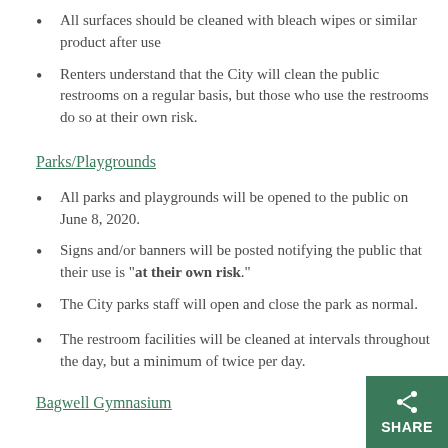All surfaces should be cleaned with bleach wipes or similar product after use
Renters understand that the City will clean the public restrooms on a regular basis, but those who use the restrooms do so at their own risk.
Parks/Playgrounds
All parks and playgrounds will be opened to the public on June 8, 2020.
Signs and/or banners will be posted notifying the public that their use is "at their own risk."
The City parks staff will open and close the park as normal.
The restroom facilities will be cleaned at intervals throughout the day, but a minimum of twice per day.
Bagwell Gymnasium